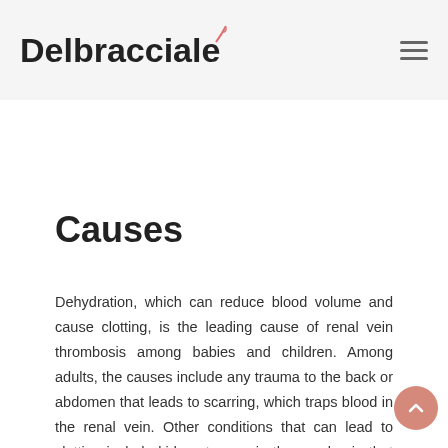[Figure (logo): Delbracciale logo with stylized text and a small pink/red swash accent mark above the 'e']
Causes
Dehydration, which can reduce blood volume and cause clotting, is the leading cause of renal vein thrombosis among babies and children. Among adults, the causes include any trauma to the back or abdomen that leads to scarring, which traps blood in the renal vein. Other conditions that can lead to clotting include kidney tumors in the renal vein that block